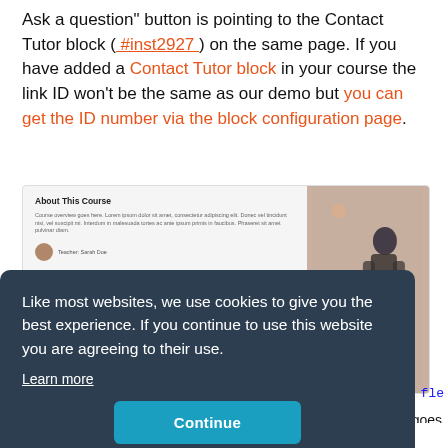Ask a question" button is pointing to the Contact Tutor block ( #inst2927 ) on the same page. If you have added a Contact Tutor block in your course the link ID won't be the same as our demo but you can get the ID number via the block configuration page.
[Figure (screenshot): Screenshot of a course page showing 'About This Course' section with Lorem ipsum text, a teacher avatar for Teacher Sarah Doe, and a side image of a person.]
Like most websites, we use cookies to give you the best experience. If you continue to use this website you are agreeing to their use. Learn more
Continue
a fle
goes
<div class="media flex-co